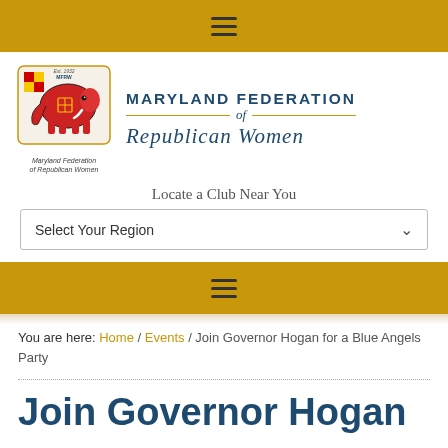≡
[Figure (logo): Maryland Federation of Republican Women logo with Maryland state flag elephant graphic and organization name]
Locate a Club Near You
Select Your Region
≡
You are here: Home / Events / Join Governor Hogan for a Blue Angels Party
Join Governor Hogan